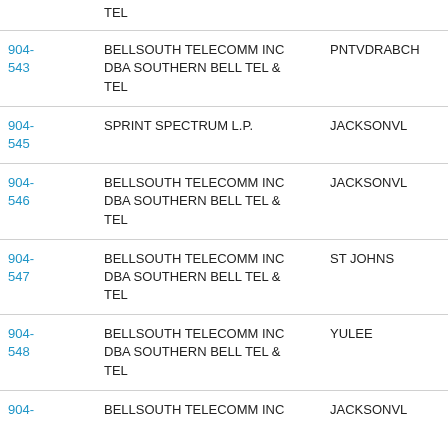| NPA-NXX | Company | Rate Center |
| --- | --- | --- |
| TEL (partial) |  |  |
| 904-543 | BELLSOUTH TELECOMM INC DBA SOUTHERN BELL TEL & TEL | PNTVDRABCH |
| 904-545 | SPRINT SPECTRUM L.P. | JACKSONVL |
| 904-546 | BELLSOUTH TELECOMM INC DBA SOUTHERN BELL TEL & TEL | JACKSONVL |
| 904-547 | BELLSOUTH TELECOMM INC DBA SOUTHERN BELL TEL & TEL | ST JOHNS |
| 904-548 | BELLSOUTH TELECOMM INC DBA SOUTHERN BELL TEL & TEL | YULEE |
| 904- (partial) | BELLSOUTH TELECOMM INC (partial) | JACKSONVL (partial) |